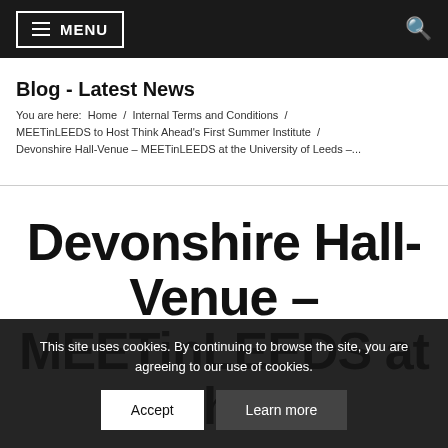MENU
Blog - Latest News
You are here:  Home  /  Internal Terms and Conditions  /  MEETinLEEDS to Host Think Ahead's First Summer Institute  /  Devonshire Hall-Venue – MEETinLEEDS at the University of Leeds –...
Devonshire Hall-Venue – MEETinLEEDS at the
This site uses cookies. By continuing to browse the site, you are agreeing to our use of cookies.